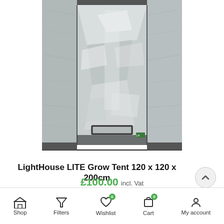[Figure (photo): Interior view of a silver mylar grow tent (LightHouse LITE) with open front showing reflective walls, a rectangular vent/window near the bottom, and a small brand label on the lower right corner. The tent is tall and narrow.]
LightHouse LITE Grow Tent 120 x 120 x 200cm
£100.00 incl. Vat
Shop   Filters   Wishlist (0)   Cart (0)   My account